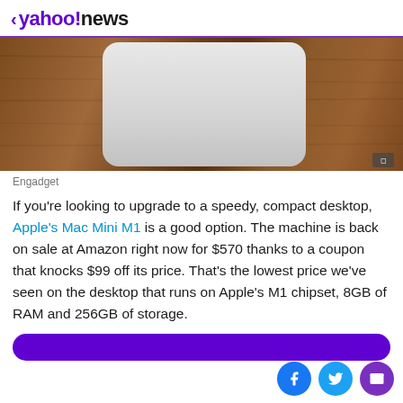< yahoo!news
[Figure (photo): A Mac Mini device (silver/gray, rounded rectangular shape) sitting on a wooden surface, viewed from above/front. Engadget logo watermark in bottom right corner.]
Engadget
If you're looking to upgrade to a speedy, compact desktop, Apple's Mac Mini M1 is a good option. The machine is back on sale at Amazon right now for $570 thanks to a coupon that knocks $99 off its price. That's the lowest price we've seen on the desktop that runs on Apple's M1 chipset, 8GB of RAM and 256GB of storage.